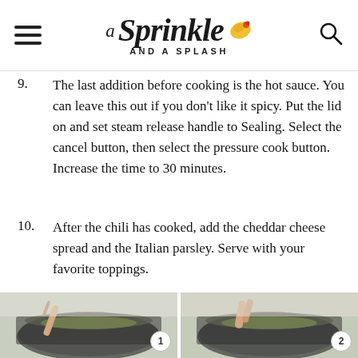A Sprinkle and a Splash
9. The last addition before cooking is the hot sauce. You can leave this out if you don't like it spicy. Put the lid on and set steam release handle to Sealing. Select the cancel button, then select the pressure cook button. Increase the time to 30 minutes.
10. After the chili has cooked, add the cheddar cheese spread and the Italian parsley. Serve with your favorite toppings.
[Figure (photo): Step 1 photo showing hands stirring contents in an Instant Pot with a wooden spoon, circular badge with number 1]
[Figure (photo): Step 2 photo showing hands and contents in an Instant Pot, circular badge with number 2]